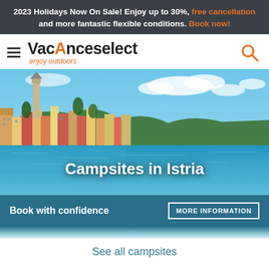2023 Holidays Now On Sale! Enjoy up to 30%, free cancellation and more fantastic flexible conditions. Book now!
[Figure (logo): Vacanceselect logo with hamburger menu and search icon]
[Figure (photo): Aerial coastal view of Istria/Rovinj with colorful buildings, bell tower, and blue Adriatic sea. Text overlay: Campsites in Istria]
Book with confidence
MORE INFORMATION
See all campsites